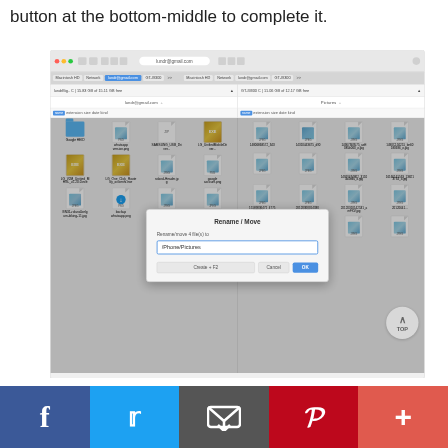button at the bottom-middle to complete it.
[Figure (screenshot): Screenshot of a macOS Finder file manager window showing two panels side by side with files and folders. A modal dialog box titled 'Rename / Move' is open in the center, showing 'Rename/move 4 file(s) to' with an input field containing '/Phone/Pictures'. Cancel, OK, and Create+F2 buttons are visible at the bottom of the dialog.]
f (Facebook) | Twitter | Email | Pinterest | +